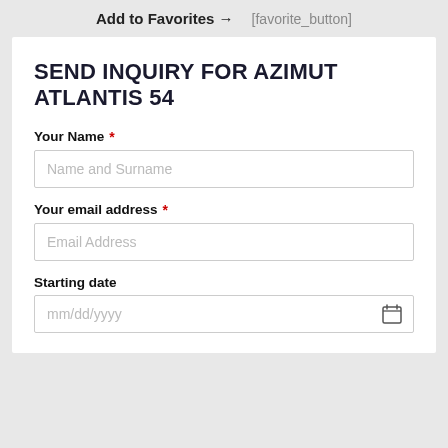Add to Favorites → [favorite_button]
SEND INQUIRY FOR AZIMUT ATLANTIS 54
Your Name *
Name and Surname
Your email address *
Email Address
Starting date
mm/dd/yyyy